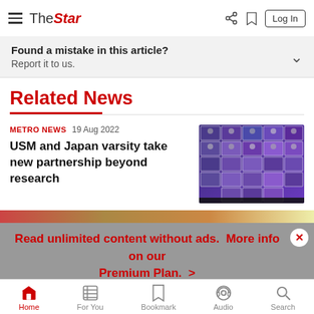The Star — Log In
Found a mistake in this article? Report it to us.
Related News
METRO NEWS  19 Aug 2022
USM and Japan varsity take new partnership beyond research
[Figure (photo): Screenshot of a video conference grid showing multiple participants in a virtual meeting, with blue and purple background.]
Read unlimited content without ads.  More info on our Premium Plan.  >
Home  For You  Bookmark  Audio  Search